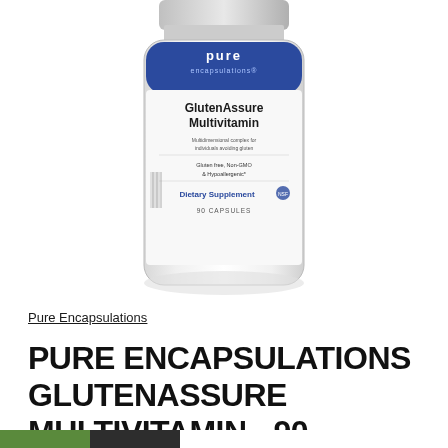[Figure (photo): White cylindrical supplement bottle labeled 'pure encapsulations GlutenAssure Multivitamin, Dietary Supplement, 90 Capsules', partially cropped at top]
Pure Encapsulations
PURE ENCAPSULATIONS GLUTENASSURE MULTIVITAMIN - 90 CAPSULES